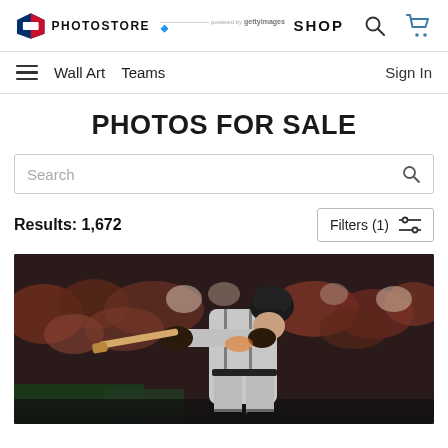MLB PHOTOSTORE — powered by Getty Images | SHOP
Wall Art  Teams  Sign In
PHOTOS FOR SALE
Search
Results: 1,672  Filters (1)
[Figure (photo): A San Francisco Giants baseball player in gray uniform and black helmet swings a bat at night game, crowd visible in background.]